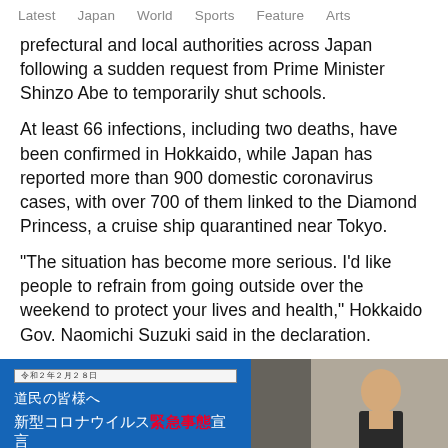Latest  Japan  World  Sports  Feature  Arts
prefectural and local authorities across Japan following a sudden request from Prime Minister Shinzo Abe to temporarily shut schools.
At least 66 infections, including two deaths, have been confirmed in Hokkaido, while Japan has reported more than 900 domestic coronavirus cases, with over 700 of them linked to the Diamond Princess, a cruise ship quarantined near Tokyo.
"The situation has become more serious. I'd like people to refrain from going outside over the weekend to protect your lives and health," Hokkaido Gov. Naomichi Suzuki said in the declaration.
[Figure (photo): A TV screen showing a Japanese emergency declaration with text '道民の皆様へ' and '新型コロナウイルス緊急事態宣言', with a person (likely Hokkaido Gov. Naomichi Suzuki) visible on the right side of the image.]